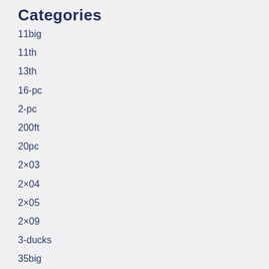Categories
11big
11th
13th
16-pc
2-pc
200ft
20pc
2×03
2×04
2×05
2×09
3-ducks
35big
398a
actias
adjustable
adorable